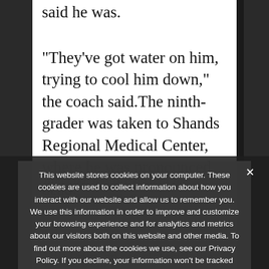said he was.
“They’ve got water on him, trying to cool him down,” the coach said.The ninth-grader was taken to Shands Regional Medical Center, where he was pronounced dead.
This website stores cookies on your computer. These cookies are used to collect information about how you interact with our website and allow us to remember you. We use this information in order to improve and customize your browsing experience and for analytics and metrics about our visitors both on this website and other media. To find out more about the cookies we use, see our Privacy Policy. If you decline, your information won’t be tracked when you visit this website. A single cookie will be used in your browser to remember your preference not to be tracked.
Ok   Privacy policy
Bill Fritz, an official with the